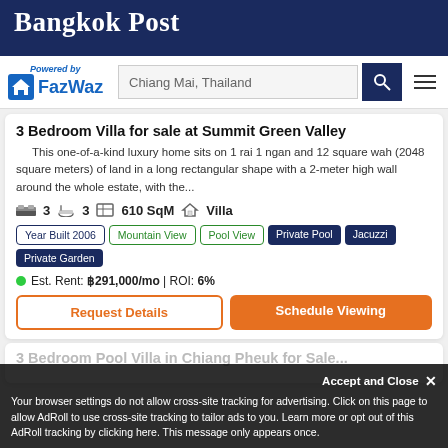Bangkok Post
[Figure (logo): FazWaz logo with house icon and 'Powered by FazWaz' text, search bar with 'Chiang Mai, Thailand', search button and hamburger menu]
3 Bedroom Villa for sale at Summit Green Valley
This one-of-a-kind luxury home sits on 1 rai 1 ngan and 12 square wah (2048 square meters) of land in a long rectangular shape with a 2-meter high wall around the whole estate, with the...
3  3  610 SqM  Villa
Year Built 2006 | Mountain View | Pool View | Private Pool | Jacuzzi | Private Garden
Est. Rent: ฿291,000/mo | ROI: 6%
Request Details | Schedule Viewing
3 Bedroom Pool Villa in Chiang Pheuk for Sale...
Accept and Close ✕
Your browser settings do not allow cross-site tracking for advertising. Click on this page to allow AdRoll to use cross-site tracking to tailor ads to you. Learn more or opt out of this AdRoll tracking by clicking here. This message only appears once.